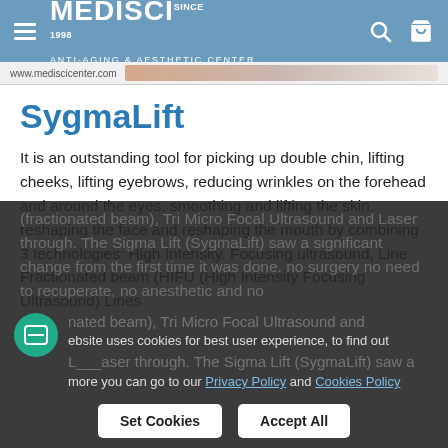MEDISCI SINCE 1998 ANTI-AGING & AESTHETIC CENTER
[Figure (screenshot): Website URL bar showing www.mediscicenter.com with partial banner image]
SygmaLift
It is an outstanding tool for picking up double chin, lifting cheeks, lifting eyebrows, reducing wrinkles on the forehead and around the eyes, smoothing and lifting the skin, reshaping the face and reshaping the mouth by combining 3 technologies: High Intensity. Focusing ultrasound, Line Fractionated beam (HIFU (High Intensity Focusing Ultrasound) Lines (fractionated beam), Tri Micro Focal Ultrasound and Laser through. The Sigma Lift (SygmaLift) saw a significant change from the first time it was done. no surgery no need to recuperate, no anesthetic and no
This website uses cookies for best user experience, to find out more you can go to our Privacy Policy and Cookies Policy
Set Cookies    Accept All